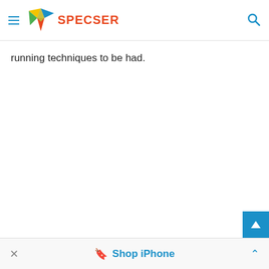SPECSER
running techniques to be had.
Shop iPhone